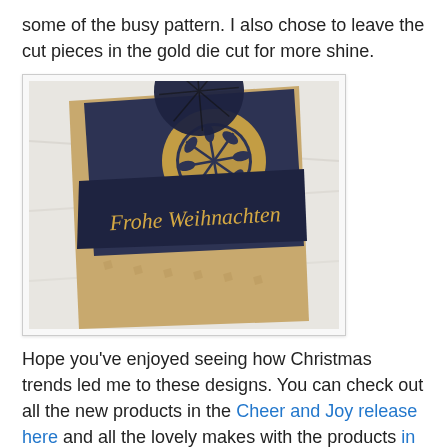some of the busy pattern. I also chose to leave the cut pieces in the gold die cut for more shine.
[Figure (photo): A Christmas card angled on a marble surface, featuring a navy blue background with a gold snowflake die cut and the text 'Frohe Weihnachten' in gold script on a navy banner, on top of a kraft paper background with a geometric pattern.]
Hope you've enjoyed seeing how Christmas trends led me to these designs. You can check out all the new products in the Cheer and Joy release here and all the lovely makes with the products in this gallery.
Thanks for stopping by. I'm stopping by at:
Winter Wonderland - Merry and Bright
SSS Wednesday Challenge - Christmas